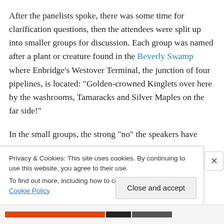After the panelists spoke, there was some time for clarification questions, then the attendees were split up into smaller groups for discussion. Each group was named after a plant or creature found in the Beverly Swamp where Enbridge's Westover Terminal, the junction of four pipelines, is located: “Golden-crowned Kinglets over here by the washrooms, Tamaracks and Silver Maples on the far side!”
In the small groups, the strong “no” the speakers have
Privacy & Cookies: This site uses cookies. By continuing to use this website, you agree to their use.
To find out more, including how to control cookies, see here: Cookie Policy